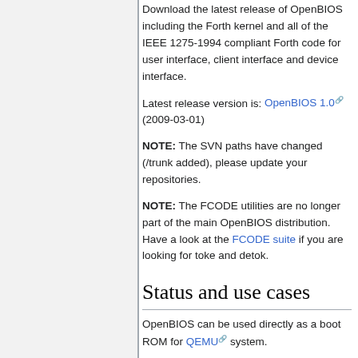Download the latest release of OpenBIOS including the Forth kernel and all of the IEEE 1275-1994 compliant Forth code for user interface, client interface and device interface.
Latest release version is: OpenBIOS 1.0 (2009-03-01)
NOTE: The SVN paths have changed (/trunk added), please update your repositories.
NOTE: The FCODE utilities are no longer part of the main OpenBIOS distribution. Have a look at the FCODE suite if you are looking for toke and detok.
Status and use cases
OpenBIOS can be used directly as a boot ROM for QEMU system.